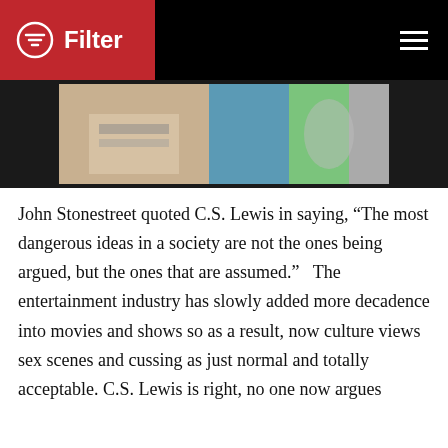Filter
[Figure (photo): Photo of people at a desk or table, blurred background with colorful elements]
John Stonestreet quoted C.S. Lewis in saying, “The most dangerous ideas in a society are not the ones being argued, but the ones that are assumed.”  The entertainment industry has slowly added more decadence into movies and shows so as a result, now culture views sex scenes and cussing as just normal and totally acceptable. C.S. Lewis is right, no one now argues